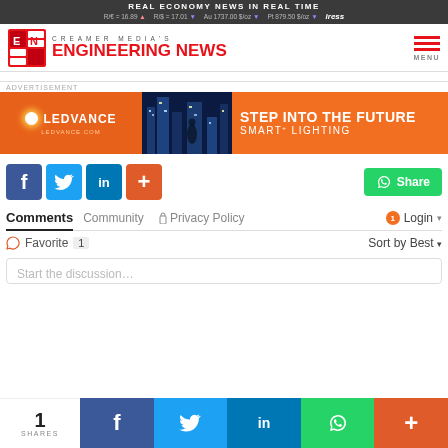REAL ECONOMY NEWS IN REAL TIME | R/€ = 16.89 ▲ R/$ = 17.01 ▼ Au 1737.00 $/oz ▼ Pt 879.50 $/oz ▼ iress
[Figure (logo): Creamer Media's Engineering News logo with red EN icon and red bold text]
[Figure (infographic): LEDVANCE advertisement banner: Step Into The Future Smart+ Lighting]
[Figure (infographic): Social share buttons: Facebook, Twitter, LinkedIn, plus button, and WhatsApp Share button]
Comments
Community | Privacy Policy | Login | Favorite 1 | Sort by Best
Start the discussion…
1 SHARES | Facebook | Twitter | LinkedIn | WhatsApp | +